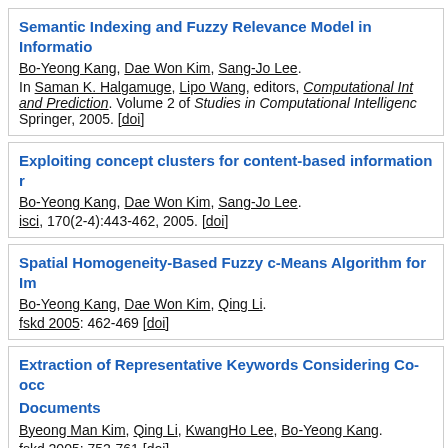Semantic Indexing and Fuzzy Relevance Model in Information... Bo-Yeong Kang, Dae Won Kim, Sang-Jo Lee. In Saman K. Halgamuge, Lipo Wang, editors, Computational Int... and Prediction. Volume 2 of Studies in Computational Intelligenc... Springer, 2005. [doi]
Exploiting concept clusters for content-based information r... Bo-Yeong Kang, Dae Won Kim, Sang-Jo Lee. isci, 170(2-4):443-462, 2005. [doi]
Spatial Homogeneity-Based Fuzzy c-Means Algorithm for Im... Bo-Yeong Kang, Dae Won Kim, Qing Li. fskd 2005: 462-469 [doi]
Extraction of Representative Keywords Considering Co-occ... Documents. Byeong Man Kim, Qing Li, KwangHo Lee, Bo-Yeong Kang. fskd 2005: 752-761 [doi]